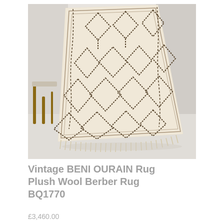[Figure (photo): A cream/ivory Beni Ourain Moroccan Berber rug with dark geometric diamond lattice pattern, draped over a surface in a bright white room with a chair visible in the background.]
Vintage BENI OURAIN Rug Plush Wool Berber Rug BQ1770
£3,460.00